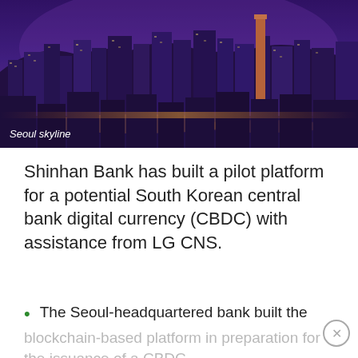[Figure (photo): Seoul skyline at night with purple and blue hues, city lights reflecting on the Han River, buildings and bridges visible]
Seoul skyline
Shinhan Bank has built a pilot platform for a potential South Korean central bank digital currency (CBDC) with assistance from LG CNS.
The Seoul-headquartered bank built the blockchain-based platform in preparation for the issuance of a CBDC